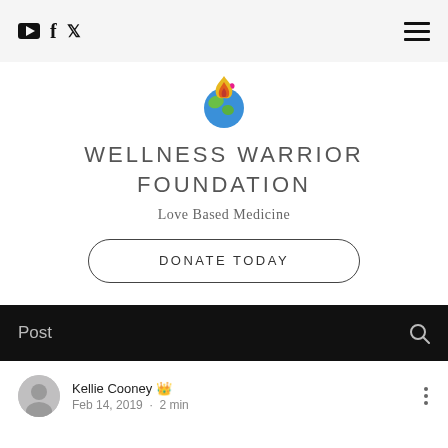Navigation bar with YouTube, Facebook, Twitter icons and hamburger menu
[Figure (logo): Wellness Warrior Foundation logo - colorful flame/globe illustration]
WELLNESS WARRIOR FOUNDATION
Love Based Medicine
DONATE TODAY
Post
Kellie Cooney 👑 Feb 14, 2019 · 2 min